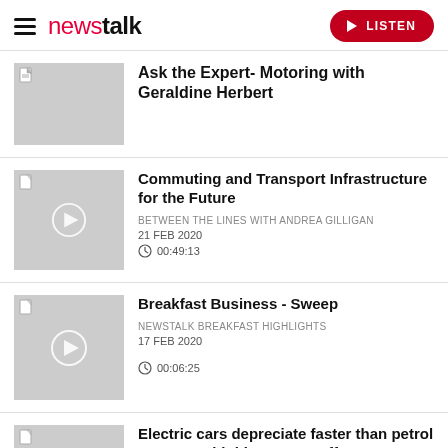newstalk | LISTEN
Ask the Expert- Motoring with Geraldine Herbert
Commuting and Transport Infrastructure for the Future
BETWEEN THE LINES WITH ANDREA GILLIGAN
21 FEB 2020
00:49:13
Breakfast Business - Sweep
NEWSTALK BREAKFAST HIGHLIGHTS
17 FEB 2020
00:06:25
Electric cars depreciate faster than petrol cars - would this put you off